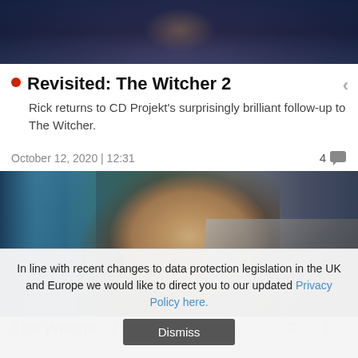[Figure (screenshot): Top cropped dark screenshot of a game/character scene with dark blue tones]
Revisited: The Witcher 2
Rick returns to CD Projekt's surprisingly brilliant follow-up to The Witcher.
October 12, 2020 | 12:31  4
[Figure (screenshot): Main image showing a bearded man in armor from The Witcher game, with turquoise and green background]
In line with recent changes to data protection legislation in the UK and Europe we would like to direct you to our updated Privacy Policy here.
Dismiss